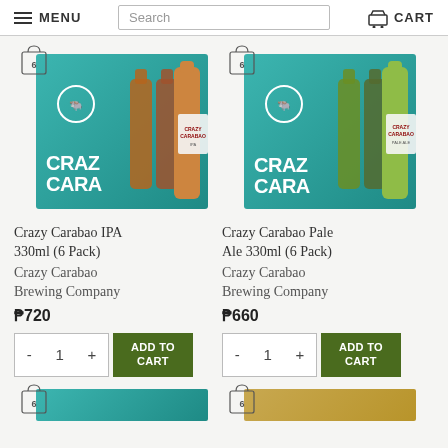MENU | Search | CART
[Figure (photo): Crazy Carabao IPA 330ml 6-pack product image showing teal branded box with beer bottles]
Crazy Carabao IPA 330ml (6 Pack)
Crazy Carabao Brewing Company
₱720
[Figure (photo): Crazy Carabao Pale Ale 330ml 6-pack product image showing teal branded box with beer bottles]
Crazy Carabao Pale Ale 330ml (6 Pack)
Crazy Carabao Brewing Company
₱660